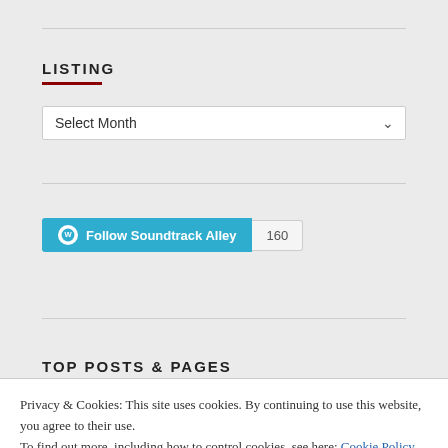LISTING
Select Month
[Figure (other): Follow Soundtrack Alley WordPress follow button with count of 160]
TOP POSTS & PAGES
Privacy & Cookies: This site uses cookies. By continuing to use this website, you agree to their use.
To find out more, including how to control cookies, see here: Cookie Policy
Close and accept
[Figure (photo): Two thumbnail images at the bottom of the page — left shows a colorful stylized image with warm tones, right shows a similar style image]